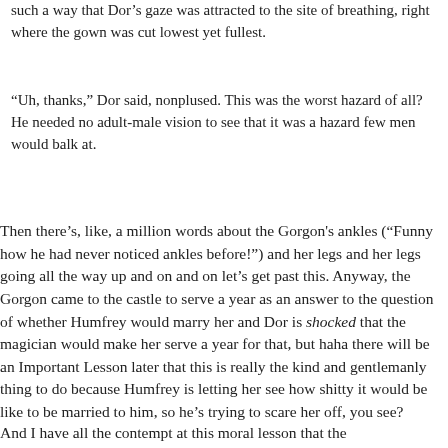such a way that Dor's gaze was attracted to the site of breathing, right where the gown was cut lowest yet fullest.
“Uh, thanks,” Dor said, nonplused. This was the worst hazard of all? He needed no adult-male vision to see that it was a hazard few men would balk at.
Then there’s, like, a million words about the Gorgon's ankles (“Funny how he had never noticed ankles before!”) and her legs and her legs going all the way up and on and on let’s get past this. Anyway, the Gorgon came to the castle to serve a year as an answer to the question of whether Humfrey would marry her and Dor is shocked that the magician would make her serve a year for that, but haha there will be an Important Lesson later that this is really the kind and gentlemanly thing to do because Humfrey is letting her see how shitty it would be like to be married to him, so he’s trying to scare her off, you see?
And I have all the contempt at this moral lesson that the